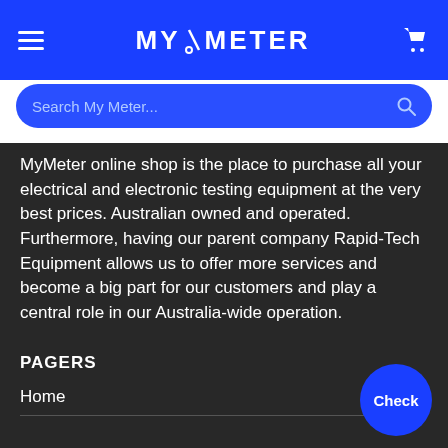MY/METER
[Figure (screenshot): Search bar with placeholder text 'Search My Meter...' and a search icon on the right]
MyMeter online shop is the place to purchase all your electrical and electronic testing equipment at the very best prices. Australian owned and operated. Furthermore, having our parent company Rapid-Tech Equipment allows us to offer more services and become a big part for our customers and play a central role in our Australia-wide operation.
PAGERS
Home